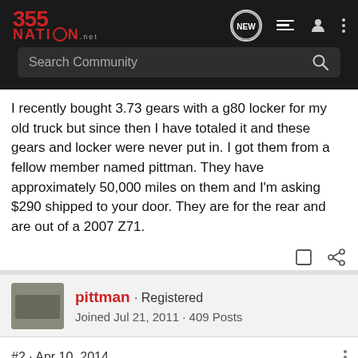355Nation.net
I recently bought 3.73 gears with a g80 locker for my old truck but since then I have totaled it and these gears and locker were never put in. I got them from a fellow member named pittman. They have approximately 50,000 miles on them and I'm asking $290 shipped to your door. They are for the rear and are out of a 2007 Z71.
pittman · Registered
Joined Jul 21, 2011 · 409 Posts
#2 · Apr 10, 2014
And I'll toss in the front R&P if anyone needs them (same set)